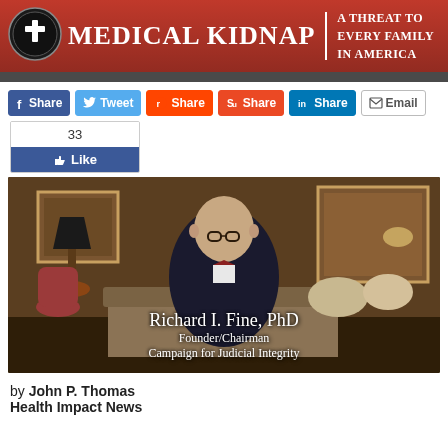MEDICAL KIDNAP | A THREAT TO EVERY FAMILY IN AMERICA
[Figure (photo): Richard I. Fine, PhD, Founder/Chairman, Campaign for Judicial Integrity — seated man in suit and bow tie, with overlay text caption]
Richard I. Fine, PhD
Founder/Chairman
Campaign for Judicial Integrity
by John P. Thomas
Health Impact News